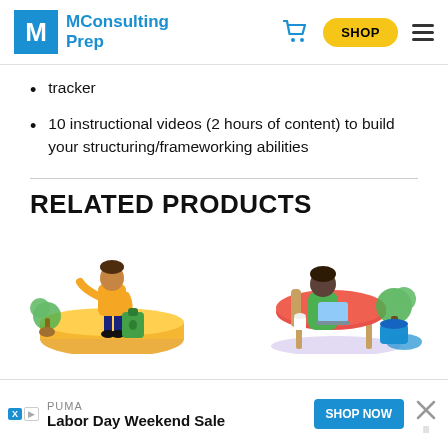[Figure (logo): MConsultingPrep logo with blue M icon and blue text, cart icon, yellow SHOP button, hamburger menu]
tracker
10 instructional videos (2 hours of content) to build your structuring/frameworking abilities
RELATED PRODUCTS
[Figure (illustration): Two product card illustrations: left shows a person in yellow jacket standing on orange platform with green plant and green bag; right shows a person in green sitting at a round table with laptop and green plant in blue pot]
[Figure (screenshot): Ad banner: PUMA Labor Day Weekend Sale with blue SHOP NOW button and close X]